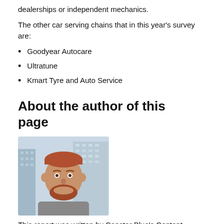dealerships or independent mechanics.
The other car serving chains that in this year's survey are:
Goodyear Autocare
Ultratune
Kmart Tyre and Auto Service
About the author of this page
[Figure (photo): Photo of a smiling man with red beard and short hair, wearing a grey zip-up top, with a cityscape of tall glass buildings in the background.]
This report was written by Canstar Blue's Content